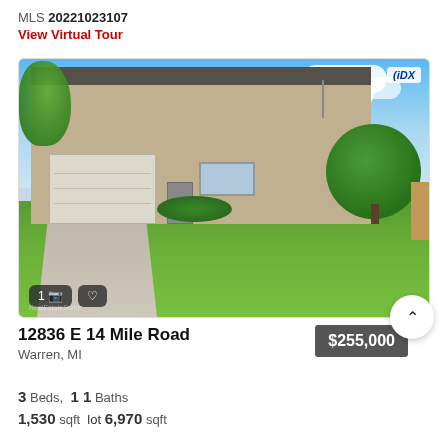MLS 20221023107
View Virtual Tour
[Figure (photo): Exterior photo of single-story brick ranch home at 12836 E 14 Mile Road, Warren MI. Home has attached garage, mature trees, and well-maintained front lawn. IDX badge visible in top-right corner. Photo controls (1 image, camera icon, heart icon) at bottom-left.]
12836 E 14 Mile Road
Warren, MI
$255,000
3 Beds, 1 1 Baths
1,530 sqft lot 6,970 sqft